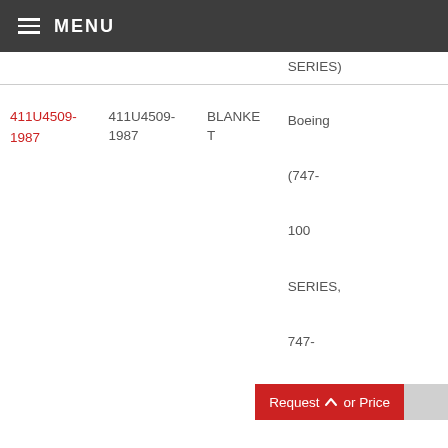MENU
| Part Number (link) | Part Number | Type | Application |
| --- | --- | --- | --- |
| SERIES) |  |  |  |
| 411U4509-1987 | 411U4509-1987 | BLANKET | Boeing (747-100 SERIES, 747-100B SERIES, 747-100B SUD SERIES, 747-200B SERIES |